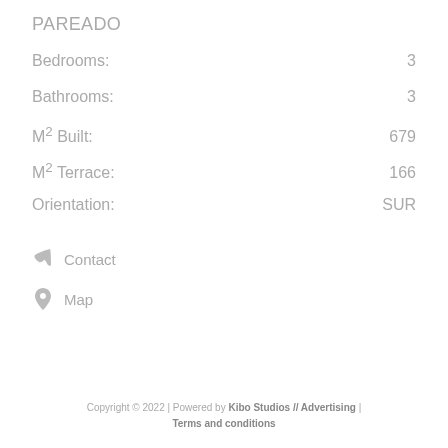PAREADO
Bedrooms: 3
Bathrooms: 3
M² Built: 679
M² Terrace: 166
Orientation: SUR
Contact
Map
Copyright © 2022 | Powered by Kibo Studios // Advertising | Terms and conditions